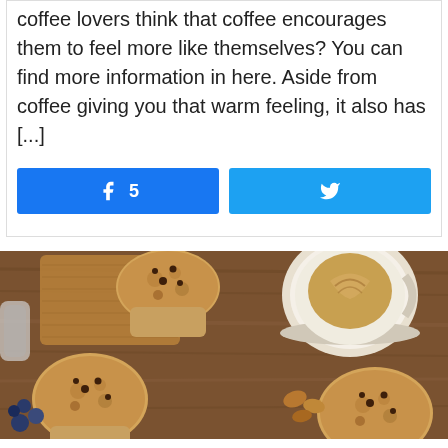coffee lovers think that coffee encourages them to feel more like themselves? You can find more information in here. Aside from coffee giving you that warm feeling, it also has [...]
[Figure (other): Two social share buttons: Facebook button with thumbs-up icon and count '5', and Twitter button with bird icon, both in blue]
[Figure (photo): Top-down photo of muffins and a cup of latte coffee on a wooden table with blueberries and nuts]